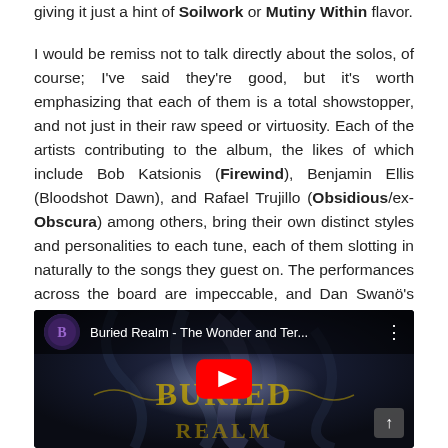giving it just a hint of Soilwork or Mutiny Within flavor.
I would be remiss not to talk directly about the solos, of course; I've said they're good, but it's worth emphasizing that each of them is a total showstopper, and not just in their raw speed or virtuosity. Each of the artists contributing to the album, the likes of which include Bob Katsionis (Firewind), Benjamin Ellis (Bloodshot Dawn), and Rafael Trujillo (Obsidious/ex-Obscura) among others, bring their own distinct styles and personalities to each tune, each of them slotting in naturally to the songs they guest on. The performances across the board are impeccable, and Dan Swanö's mix and master brings out their full potential.
[Figure (screenshot): YouTube video embed showing 'Buried Realm - The Wonder and Ter...' with album artwork visible (dark fantasy/metal style with yellow ornate text), a red YouTube play button in the center, and a scroll-up arrow button in the bottom right corner.]